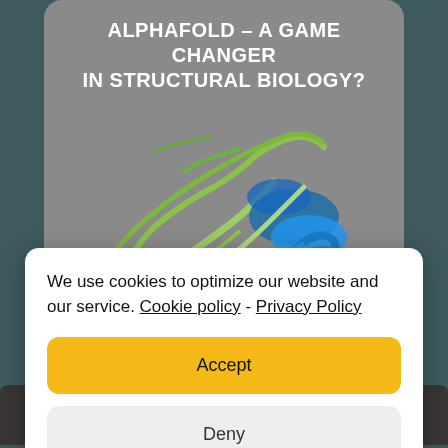[Figure (illustration): Protein structure visualization (ribbon diagram) showing green and blue helices and strands on a grey rounded-rectangle card background, with title text 'ALPHAFOLD – A GAME CHANGER IN STRUCTURAL BIOLOGY?' in white bold capitals.]
We use cookies to optimize our website and our service. Cookie policy - Privacy Policy
Accept
Deny
Settings